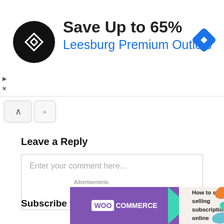[Figure (screenshot): Advertisement banner: Save Up to 65% - Leesburg Premium Outlets, with circular black logo and blue diamond navigation icon]
[Figure (screenshot): Browser toolbar with back (chevron up) and forward (chevron right) navigation buttons]
Leave a Reply
[Figure (screenshot): Comment text input box with placeholder text: Enter your comment here...]
Subscribe to Blog via Email
Advertisements
[Figure (screenshot): WooCommerce advertisement banner: How to start selling subscriptions online, with teal arrow and colorful leaf decorations]